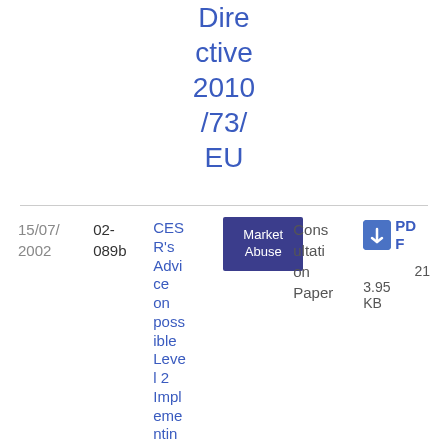Directive 2010/73/EU
| Date | Ref | Title | Tag | Type | File |
| --- | --- | --- | --- | --- | --- |
| 15/07/2002 | 02-089b | CESR's Advice on possible Level 2 Implementing Measures for tho | Market Abuse | Consultation Paper | PDF 3.95 KB 21 |